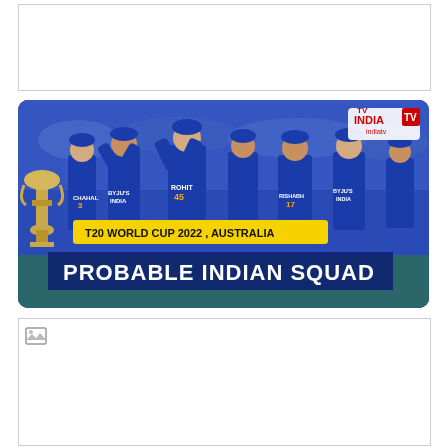[Figure (photo): Blank/white placeholder image at top of page]
[Figure (photo): India cricket team players celebrating in blue jerseys with numbers and names CHAHAL 3, ROHIT 45, RISHAD 17 visible. A golden trophy is visible on left. Overlay text reads 'T20 WORLD CUP 2022, AUSTRALIA' in yellow on black band, and 'PROBABLE INDIAN SQUAD' in large bold white text below. INDIA TV logo in top right corner.]
[Figure (photo): Blank/white placeholder image at bottom of page with broken image icon in top-left corner]